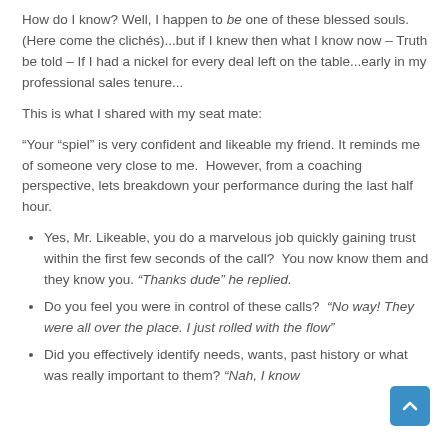How do I know? Well, I happen to be one of these blessed souls. (Here come the clichés)...but if I knew then what I know now – Truth be told – If I had a nickel for every deal left on the table...early in my professional sales tenure...
This is what I shared with my seat mate:
“Your “spiel” is very confident and likeable my friend. It reminds me of someone very close to me.  However, from a coaching perspective, lets breakdown your performance during the last half hour.
Yes, Mr. Likeable, you do a marvelous job quickly gaining trust within the first few seconds of the call?  You now know them and they know you. “Thanks dude” he replied.
Do you feel you were in control of these calls?  “No way! They were all over the place. I just rolled with the flow”
Did you effectively identify needs, wants, past history or what was really important to them? “Nah, I know...